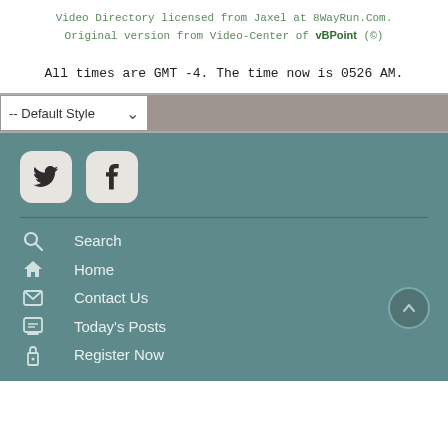Video Directory licensed from Jaxel at 8WayRun.Com. Original version from Video-Center of vBPoint (©)
All times are GMT -4. The time now is 0526 AM.
-- Default Style
[Figure (other): Social media icon buttons: Twitter (bird icon) and Facebook (f icon) as rounded square buttons on teal/dark background]
Search
Home
Contact Us
Today's Posts
Register Now